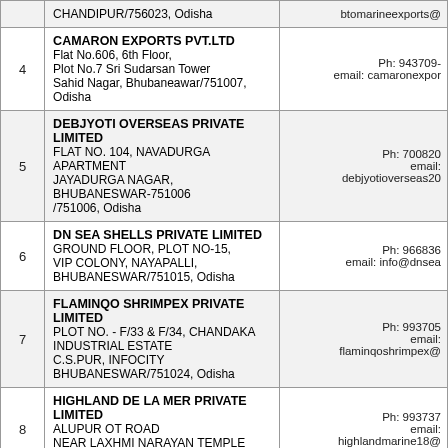| # | Address | Contact |
| --- | --- | --- |
|  | CHANDIPUR/756023, Odisha | btomarineexports@... |
| 4 | CAMARON EXPORTS PVT.LTD
Flat No.606, 6th Floor,
Plot No.7 Sri Sudarsan Tower
Sahid Nagar, Bhubaneawar/751007, Odisha | Ph: 943709-
email: camaronexpor... |
| 5 | DEBJYOTI OVERSEAS PRIVATE LIMITED
FLAT NO. 104, NAVADURGA APARTMENT
JAYADURGA NAGAR, BHUBANESWAR-751006
/751006, Odisha | Ph: 700820...
email:
debjyotioverseas20... |
| 6 | DN SEA SHELLS PRIVATE LIMITED
GROUND FLOOR, PLOT NO-15,
VIP COLONY, NAYAPALLI,
BHUBANESWAR/751015, Odisha | Ph: 966836...
email: info@dnsea... |
| 7 | FLAMINQO SHRIMPEX PRIVATE LIMITED
PLOT NO. - F/33 & F/34, CHANDAKA
INDUSTRIAL ESTATE
C.S.PUR, INFOCITY
BHUBANESWAR/751024, Odisha | Ph: 993705...
email:
flaminqoshrimpex@... |
| 8 | HIGHLAND DE LA MER PRIVATE LIMITED
ALUPUR OT ROAD
NEAR LAXHMI NARAYAN TEMPLE
BALASORE/756001, Odisha | Ph: 993737...
email:
highlandmarine18@... |
| 9 | K.R.ENTERPRISES
PLOT NO, A/22,1ST FLOOR,FALCON HOUSE
CUTTACK ROAD,BHUBANESWAR
/751006, Odisha | Ph: 0993739...
email:
krenterprises2003@... |